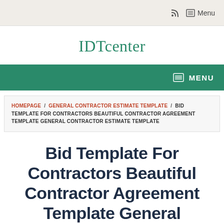RSS Menu
IDTcenter
MENU
HOMEPAGE / GENERAL CONTRACTOR ESTIMATE TEMPLATE / BID TEMPLATE FOR CONTRACTORS BEAUTIFUL CONTRACTOR AGREEMENT TEMPLATE GENERAL CONTRACTOR ESTIMATE TEMPLATE
Bid Template For Contractors Beautiful Contractor Agreement Template General Contractor Estimate